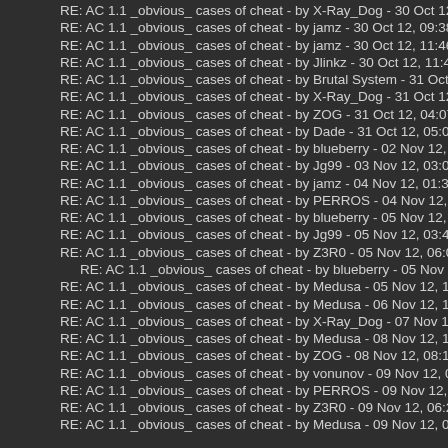RE: AC 1.1 _obvious_ cases of cheat - by X-Ray_Dog - 30 Oct 12, 08:37PM
RE: AC 1.1 _obvious_ cases of cheat - by jamz - 30 Oct 12, 09:38PM
RE: AC 1.1 _obvious_ cases of cheat - by jamz - 30 Oct 12, 11:46PM
RE: AC 1.1 _obvious_ cases of cheat - by Jlinkz - 30 Oct 12, 11:48PM
RE: AC 1.1 _obvious_ cases of cheat - by Brutal System - 31 Oct 12, 02:24AM
RE: AC 1.1 _obvious_ cases of cheat - by X-Ray_Dog - 31 Oct 12, 03:34AM
RE: AC 1.1 _obvious_ cases of cheat - by ZOG - 31 Oct 12, 04:07AM
RE: AC 1.1 _obvious_ cases of cheat - by Dade - 31 Oct 12, 05:01AM
RE: AC 1.1 _obvious_ cases of cheat - by blueberry - 02 Nov 12, 07:37AM
RE: AC 1.1 _obvious_ cases of cheat - by Jg99 - 03 Nov 12, 03:01AM
RE: AC 1.1 _obvious_ cases of cheat - by jamz - 04 Nov 12, 01:36PM
RE: AC 1.1 _obvious_ cases of cheat - by PERROS - 04 Nov 12, 06:24PM
RE: AC 1.1 _obvious_ cases of cheat - by blueberry - 05 Nov 12, 02:17AM
RE: AC 1.1 _obvious_ cases of cheat - by Jg99 - 05 Nov 12, 03:42AM
RE: AC 1.1 _obvious_ cases of cheat - by Z3R0 - 05 Nov 12, 06:07PM
RE: AC 1.1 _obvious_ cases of cheat - by blueberry - 05 Nov 12, 06:12PM
RE: AC 1.1 _obvious_ cases of cheat - by Medusa - 05 Nov 12, 10:52PM
RE: AC 1.1 _obvious_ cases of cheat - by Medusa - 06 Nov 12, 11:02PM
RE: AC 1.1 _obvious_ cases of cheat - by X-Ray_Dog - 07 Nov 12, 02:38AM
RE: AC 1.1 _obvious_ cases of cheat - by Medusa - 08 Nov 12, 10:59AM
RE: AC 1.1 _obvious_ cases of cheat - by ZOG - 08 Nov 12, 08:14PM
RE: AC 1.1 _obvious_ cases of cheat - by vonunov - 09 Nov 12, 06:36AM
RE: AC 1.1 _obvious_ cases of cheat - by PERROS - 09 Nov 12, 05:12PM
RE: AC 1.1 _obvious_ cases of cheat - by Z3R0 - 09 Nov 12, 06:20PM
RE: AC 1.1 _obvious_ cases of cheat - by Medusa - 09 Nov 12, 09:40PM